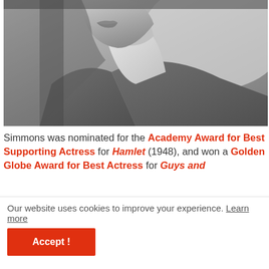[Figure (photo): Black and white close-up portrait photograph of a woman's face and upper body, looking slightly upward, wearing a collared jacket. Only the lower half of the face (lips and chin area) and neck are visible.]
Simmons was nominated for the Academy Award for Best Supporting Actress for Hamlet (1948), and won a Golden Globe Award for Best Actress for Guys and
Our website uses cookies to improve your experience. Learn more
Accept !